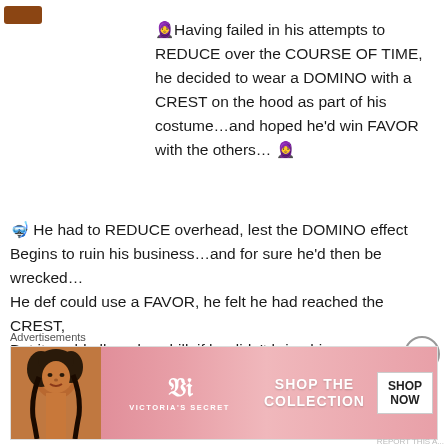🧕Having failed in his attempts to REDUCE over the COURSE OF TIME, he decided to wear a DOMINO with a CREST on the hood as part of his costume…and hoped he'd win FAVOR with the others…🧕
🤿 He had to REDUCE overhead, lest the DOMINO effect
Begins to ruin his business…and for sure he'd then be wrecked…
He def could use a FAVOR, he felt he had reached the CREST,
But it could all go downhill, if he didn't bring his
Advertisements
[Figure (other): Victoria's Secret advertisement banner with model photo, VS logo, 'SHOP THE COLLECTION' text and 'SHOP NOW' button]